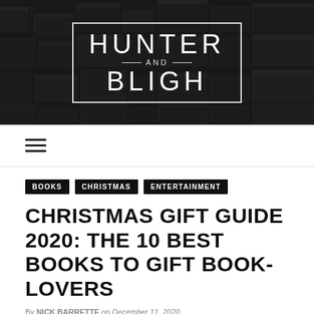[Figure (logo): Hunter and Bligh logo — white text in a white-bordered rectangle on a dark textured background]
[Figure (other): Hamburger menu icon (three horizontal lines)]
BOOKS   CHRISTMAS   ENTERTAINMENT
CHRISTMAS GIFT GUIDE 2020: THE 10 BEST BOOKS TO GIFT BOOK-LOVERS
By [AUTHOR NAME] on [date, 2020]